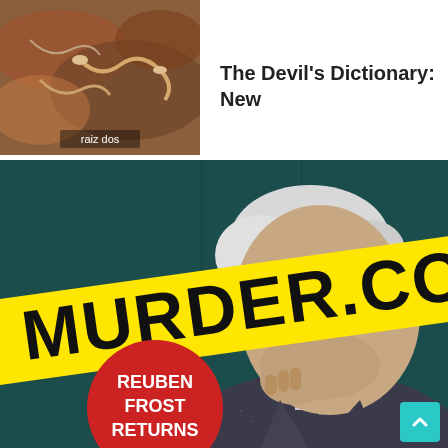[Figure (photo): Small thumbnail of a book cover showing earthy tones with text 'raiz dos']
The Devil's Dictionary: New
[Figure (illustration): Book cover for 'MURDER.COM' featuring a Reuben Frost mystery. Dark teal background with an elderly man in a suit holding his chin thoughtfully. A bold yellow crime-tape banner stretches diagonally with 'MURDER.COM' in large black block letters. A red circle badge in the lower left reads 'REUBEN FROST RETURNS'. A teal scroll-up button appears in the bottom right corner.]